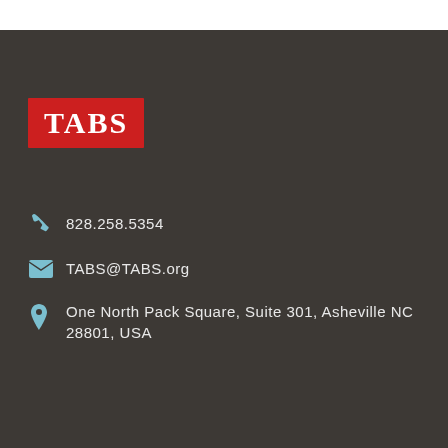[Figure (logo): TABS logo: white serif text 'TABS' on red rectangle background]
828.258.5354
TABS@TABS.org
One North Pack Square, Suite 301, Asheville NC 28801, USA